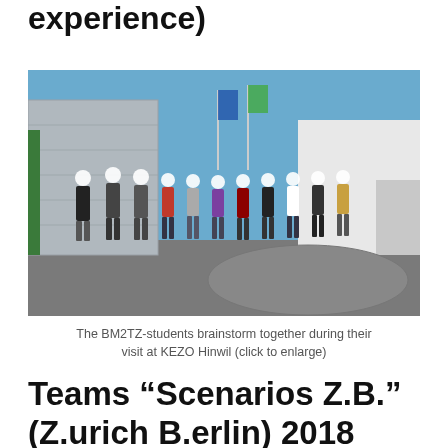experience)
[Figure (photo): Group of students wearing white hard hats standing in front of a building with flags, outdoors at KEZO Hinwil facility.]
The BM2TZ-students brainstorm together during their visit at KEZO Hinwil (click to enlarge)
Teams “Scenarios Z.B.” (Z.urich B.erlin) 2018